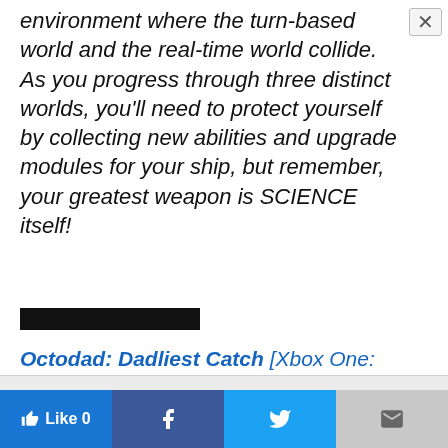environment where the turn-based world and the real-time world collide. As you progress through three distinct worlds, you'll need to protect yourself by collecting new abilities and upgrade modules for your ship, but remember, your greatest weapon is SCIENCE itself!
[Figure (other): Black redacted/censored bar covering text]
Octodad: Dadliest Catch [Xbox One: $14.99]
This website uses cookies. Accept
[Figure (other): Social sharing bar with Like, Facebook, Twitter, and Mail buttons]